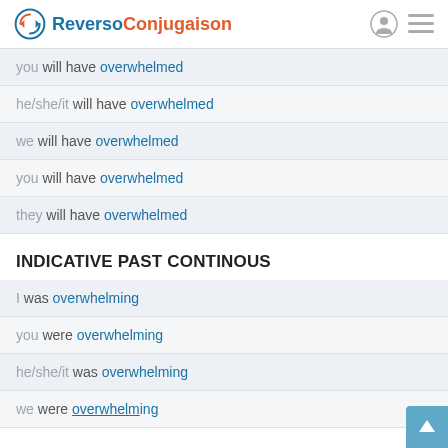Reverso Conjugaison
you will have overwhelmed
he/she/it will have overwhelmed
we will have overwhelmed
you will have overwhelmed
they will have overwhelmed
INDICATIVE PAST CONTINOUS
I was overwhelming
you were overwhelming
he/she/it was overwhelming
we were overwhelming